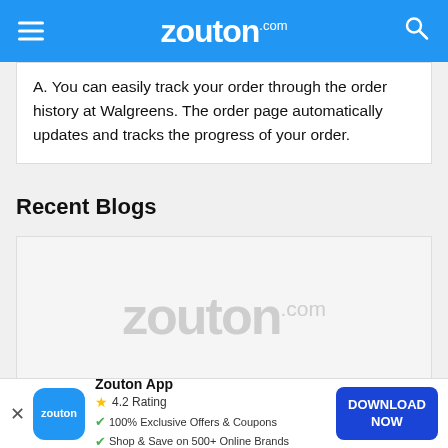zouton.com
A. You can easily track your order through the order history at Walgreens. The order page automatically updates and tracks the progress of your order.
Recent Blogs
[Figure (logo): Zouton.com watermark logo placeholder image for a blog post]
Columbia Student Discount | August 2022 | Save
Zouton App
4.2 Rating
100% Exclusive Offers & Coupons
Shop & Save on 500+ Online Brands
DOWNLOAD NOW